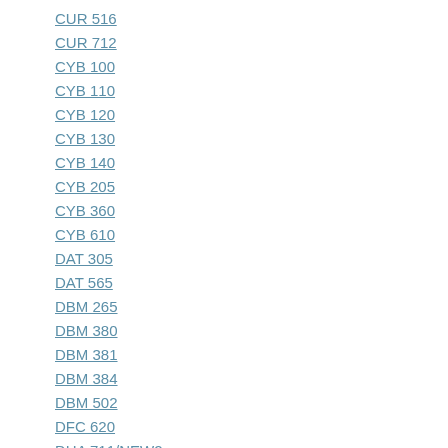CUR 516
CUR 712
CYB 100
CYB 110
CYB 120
CYB 130
CYB 140
CYB 205
CYB 360
CYB 610
DAT 305
DAT 565
DBM 265
DBM 380
DBM 381
DBM 384
DBM 502
DFC 620
DHA 711/NEW2